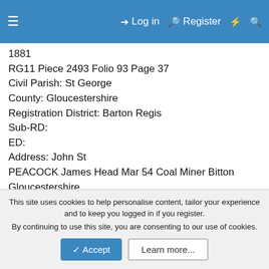Log in  Register
1881
RG11 Piece 2493 Folio 93 Page 37
Civil Parish: St George
County: Gloucestershire
Registration District: Barton Regis
Sub-RD:
ED:
Address: John St
PEACOCK James Head Mar 54 Coal Miner Bitton Gloucestershire
PEACOCK Ann Wife Mar 56 Gen Shop Keeper Bitton Gloucestershire
PEACOCK George Son Unm 22 Coal Miner Bitton Gloucestershire
PEACOCK Albert Son Unm 19 Coal Miner Bitton
This site uses cookies to help personalise content, tailor your experience and to keep you logged in if you register. By continuing to use this site, you are consenting to our use of cookies.